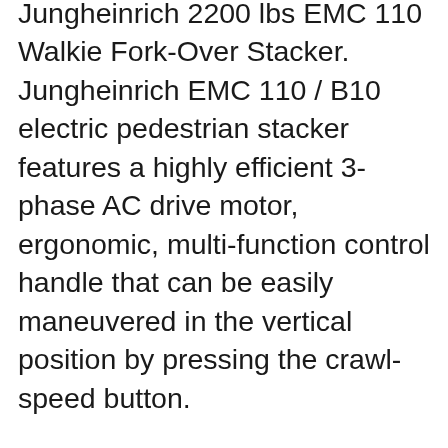Jungheinrich 2200 lbs EMC 110 Walkie Fork-Over Stacker. Jungheinrich EMC 110 / B10 electric pedestrian stacker features a highly efficient 3-phase AC drive motor, ergonomic, multi-function control handle that can be easily maneuvered in the vertical position by pressing the crawl-speed button.
Pallet trucks are also available as walk-along or ride-on devices. At Jungheinrich you will always find the optimal design for all applications. Should your individual requirements be outside of our broad range of model configurations, we will develop a solution tailored ... Productivity The Jungheinrich ® 3-phase AC motor and